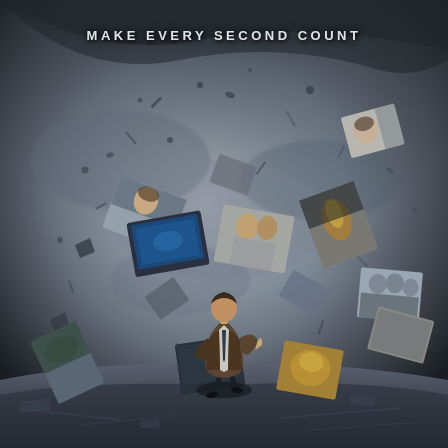[Figure (illustration): Movie poster showing a man in a suit running forward in center, surrounded by swirling debris and flying photographs/images in a dramatic stormy gray atmosphere. Multiple photo frames scatter through the air showing faces and scenes.]
MAKE EVERY SECOND COUNT